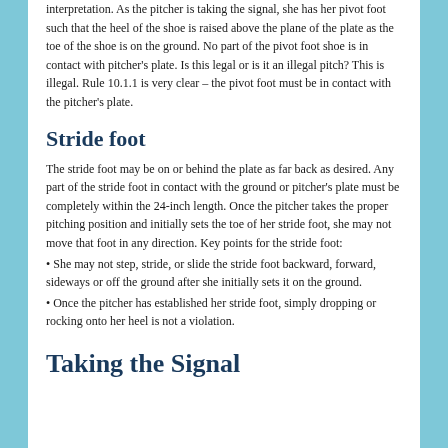interpretation. As the pitcher is taking the signal, she has her pivot foot such that the heel of the shoe is raised above the plane of the plate as the toe of the shoe is on the ground. No part of the pivot foot shoe is in contact with pitcher's plate. Is this legal or is it an illegal pitch? This is illegal. Rule 10.1.1 is very clear – the pivot foot must be in contact with the pitcher's plate.
Stride foot
The stride foot may be on or behind the plate as far back as desired. Any part of the stride foot in contact with the ground or pitcher's plate must be completely within the 24-inch length. Once the pitcher takes the proper pitching position and initially sets the toe of her stride foot, she may not move that foot in any direction. Key points for the stride foot:
• She may not step, stride, or slide the stride foot backward, forward, sideways or off the ground after she initially sets it on the ground.
• Once the pitcher has established her stride foot, simply dropping or rocking onto her heel is not a violation.
Taking the Signal